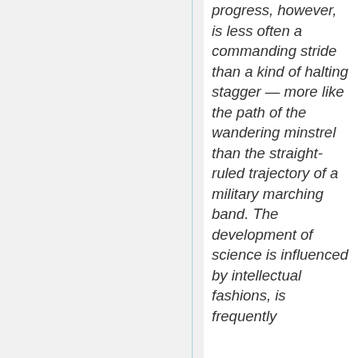progress, however, is less often a commanding stride than a kind of halting stagger — more like the path of the wandering minstrel than the straight-ruled trajectory of a military marching band. The development of science is influenced by intellectual fashions, is frequently